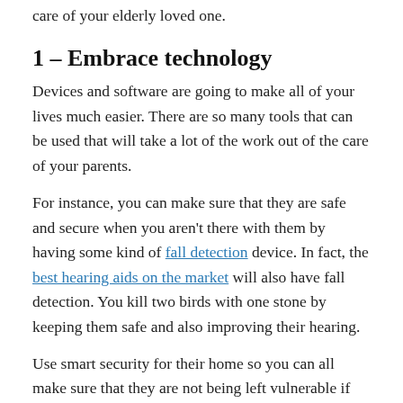care of your elderly loved one.
1 – Embrace technology
Devices and software are going to make all of your lives much easier. There are so many tools that can be used that will take a lot of the work out of the care of your parents.
For instance, you can make sure that they are safe and secure when you aren't there with them by having some kind of fall detection device. In fact, the best hearing aids on the market will also have fall detection. You kill two birds with one stone by keeping them safe and also improving their hearing.
Use smart security for their home so you can all make sure that they are not being left vulnerable if they live on their own. There are doorbell cameras that will alert you when there is movement